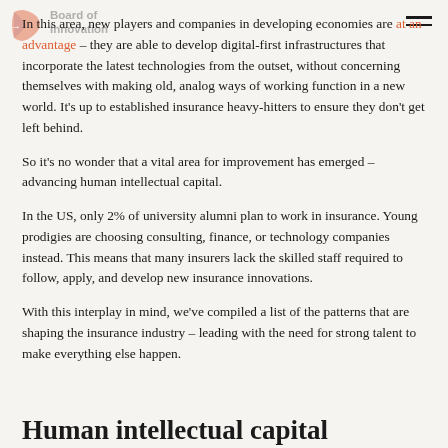Board of Innovation
In this area, new players and companies in developing economies are at an advantage – they are able to develop digital-first infrastructures that incorporate the latest technologies from the outset, without concerning themselves with making old, analog ways of working function in a new world. It's up to established insurance heavy-hitters to ensure they don't get left behind.
So it's no wonder that a vital area for improvement has emerged – advancing human intellectual capital.
In the US, only 2% of university alumni plan to work in insurance. Young prodigies are choosing consulting, finance, or technology companies instead. This means that many insurers lack the skilled staff required to follow, apply, and develop new insurance innovations.
With this interplay in mind, we've compiled a list of the patterns that are shaping the insurance industry – leading with the need for strong talent to make everything else happen.
Human intellectual capital